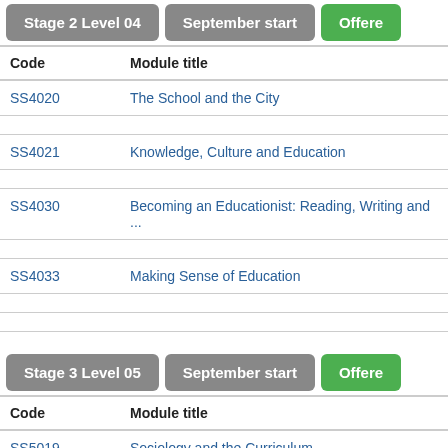Stage 2 Level 04 | September start | Offered
| Code | Module title |
| --- | --- |
| SS4020 | The School and the City |
| SS4021 | Knowledge, Culture and Education |
| SS4030 | Becoming an Educationist: Reading, Writing and ... |
| SS4033 | Making Sense of Education |
Stage 3 Level 05 | September start | Offered
| Code | Module title |
| --- | --- |
| SS5019 | Sociology and the Curriculum |